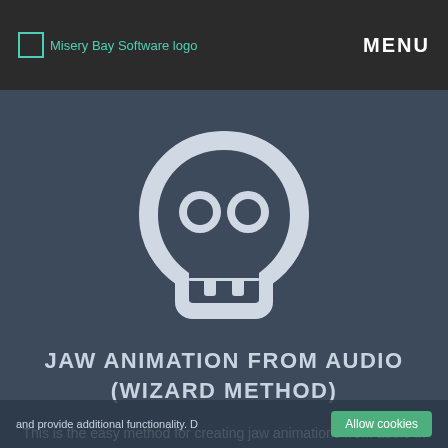Misery Bay Software logo   MENU
[Figure (illustration): White skull icon on dark blue-grey background representing Jaw Animation from Audio feature]
JAW ANIMATION FROM AUDIO (WIZARD METHOD)
This is the easy method for creating jaw animations from audio in the DAZL Editor.
and provide additional functionality. D Allow cookies